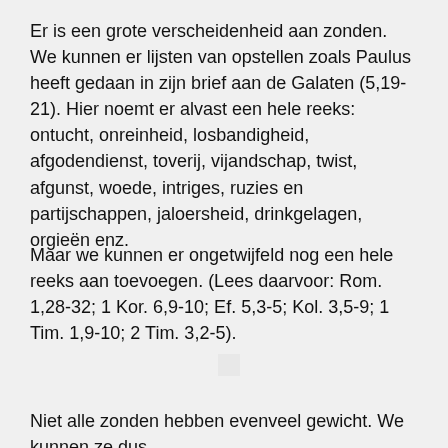Er is een grote verscheidenheid aan zonden. We kunnen er lijsten van opstellen zoals Paulus heeft gedaan in zijn brief aan de Galaten (5,19-21). Hier noemt er alvast een hele reeks: ontucht, onreinheid, losbandigheid, afgodendienst, toverij, vijandschap, twist, afgunst, woede, intriges, ruzies en partijschappen, jaloersheid, drinkgelagen, orgieën enz.
Maar we kunnen er ongetwijfeld nog een hele reeks aan toevoegen. (Lees daarvoor: Rom. 1,28-32; 1 Kor. 6,9-10; Ef. 5,3-5; Kol. 3,5-9; 1 Tim. 1,9-10; 2 Tim. 3,2-5).
Niet alle zonden hebben evenveel gewicht. We kunnen ze dus